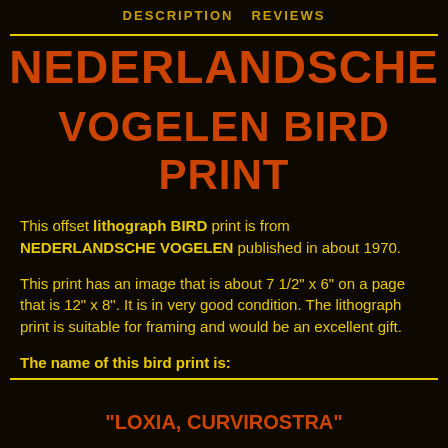DESCRIPTION   REVIEWS
NEDERLANDSCHE VOGELEN BIRD PRINT
This offset lithograph BIRD print is from NEDERLANDSCHE VOGELEN published in about 1970.
This print has an image that is about 7 1/2" x 6" on a page that is 12" x 8". It is in very good condition.  The lithograph print is suitable for framing and would be an excellent gift.
The name of this bird print is:
"LOXIA, CURVIROSTRA"